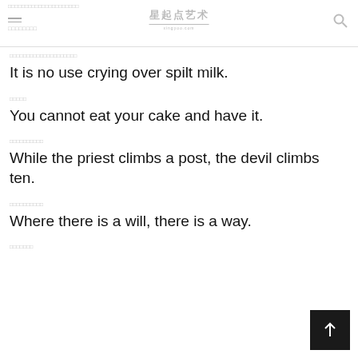星起点艺术
□□□□□□□□□□□□□□□□□
It is no use crying over spilt milk.
□□□□□
You cannot eat your cake and have it.
□□□□□□□□□□
While the priest climbs a post, the devil climbs ten.
□□□□□□□□□□
Where there is a will, there is a way.
□□□□□□□